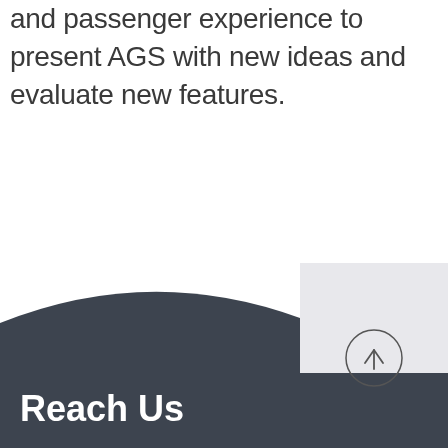and passenger experience to present AGS with new ideas and evaluate new features.
[Figure (illustration): Dark curved shape forming a footer background with a light gray panel on the right side and a scroll-to-top circular button]
Reach Us